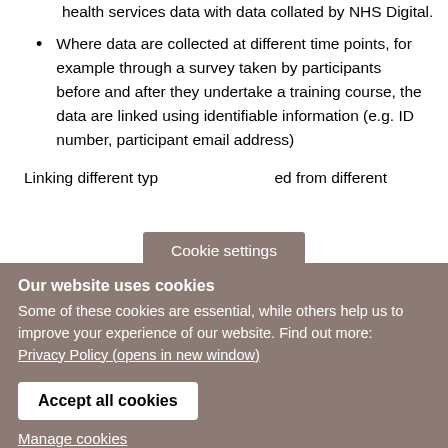health services data with data collated by NHS Digital.
Where data are collected at different time points, for example through a survey taken by participants before and after they undertake a training course, the data are linked using identifiable information (e.g. ID number, participant email address)
Linking different types of data collected from different
Cookie settings
Our website uses cookies
Some of these cookies are essential, while others help us to improve your experience of our website. Find out more: Privacy Policy (opens in new window)
Accept all cookies
Manage cookies